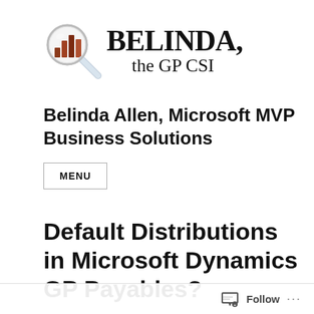[Figure (logo): Belinda the GP CSI logo: magnifying glass with bar chart inside, next to bold handwritten text 'BELINDA, the GP CSI']
Belinda Allen, Microsoft MVP Business Solutions
MENU
Default Distributions in Microsoft Dynamics GP Payables?
Follow